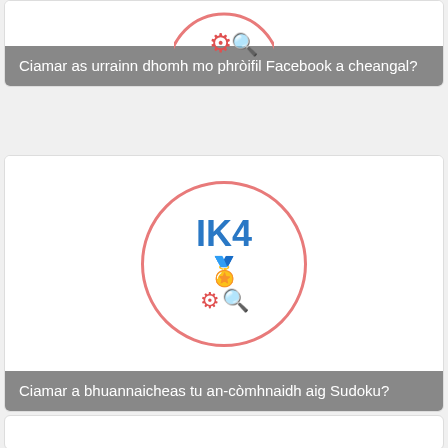[Figure (illustration): Partial view of a card showing a circular logo with red border containing gear and magnifier icons, cropped at top of page]
Ciamar as urrainn dhomh mo phròifil Facebook a cheangal?
[Figure (logo): Card with white background showing circular logo with red/pink border. Inside: 'IK4' in bold blue text, yellow atom/star icon, red gear icon, blue magnifier icon]
Ciamar a bhuannaicheas tu an-còmhnaidh aig Sudoku?
[Figure (illustration): Partial third card visible at bottom of page, white background, cropped]